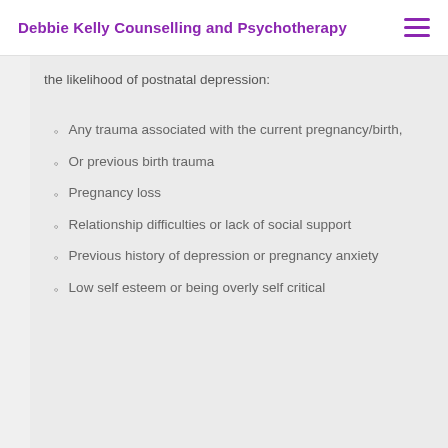Debbie Kelly Counselling and Psychotherapy
the likelihood of postnatal depression:
Any trauma associated with the current pregnancy/birth,
Or previous birth trauma
Pregnancy loss
Relationship difficulties or lack of social support
Previous history of depression or pregnancy anxiety
Low self esteem or being overly self critical